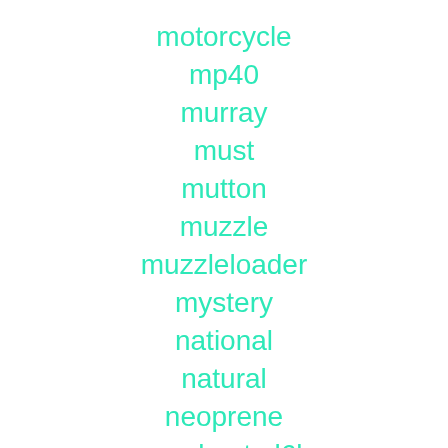motorcycle
mp40
murray
must
mutton
muzzle
muzzleloader
mystery
national
natural
neoprene
new-boyt-sl6k